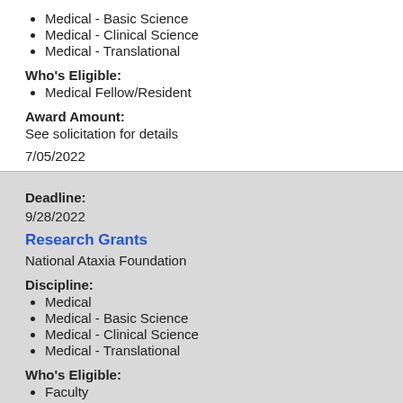Medical - Basic Science
Medical - Clinical Science
Medical - Translational
Who's Eligible:
Medical Fellow/Resident
Award Amount:
See solicitation for details
7/05/2022
Deadline:
9/28/2022
Research Grants
National Ataxia Foundation
Discipline:
Medical
Medical - Basic Science
Medical - Clinical Science
Medical - Translational
Who's Eligible:
Faculty
Grad/Prof Students
Junior Faculty
Medical Fellow/Resident